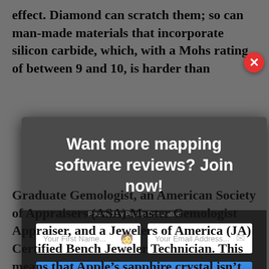effect. Diamond can scratch them; so can man-made materials that incorporate silicon carbide, which, with a Mohs rating of between 9 and 10, is harder than
[Figure (screenshot): Modal popup dialog on dark overlay background. Header reads 'Want more mapping software reviews? Join now!' in white bold text on dark gray background. Below are two input fields: 'Your First Name...' and 'Your Email Address...', followed by a blue 'SUBSCRIBE NOW' button and a spam notice 'We never send SPAM or anything like that'. A red circular close button with X is in the top right corner. Footer reads 'Powered By PopUp Domination'.]
Graduate Gemologist, an American Society of Appraisers (ASA) Master Gemologist Appraiser, and a Jewelers of America (JA) Certified Bench Jeweler Technician. This means that Appleâs sapphire crystal isnât any snobber than its scratch-â¦ Cheaper sole scræ...